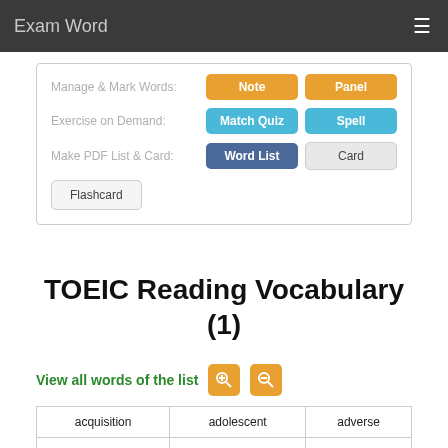Exam Word
Manage & Mark Words: Note | Panel
Exercise on Demand: Match Quiz | Spell
Make PDF List & Card: Word List | Card
Flashcard
TOEIC Reading Vocabulary (1)
View all words of the list
| acquisition | adolescent | adverse |
| aesthetic | affiliate | afflict |
| aggravate | agitation | alleviate |